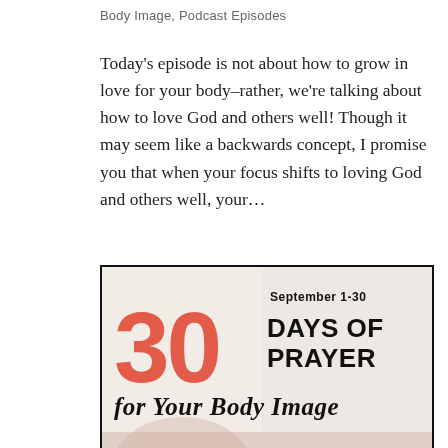Body Image, Podcast Episodes
Today's episode is not about how to grow in love for your body–rather, we're talking about how to love God and others well! Though it may seem like a backwards concept, I promise you that when your focus shifts to loving God and others well, your...
[Figure (illustration): Promotional image for '30 Days of Prayer for Your Body Image', September 1-30. Large coral/red '30' on the left, bold black text 'DAYS OF PRAYER' to the right, and cursive text 'for Your Body Image' below. Background shows a soft blurred figure.]